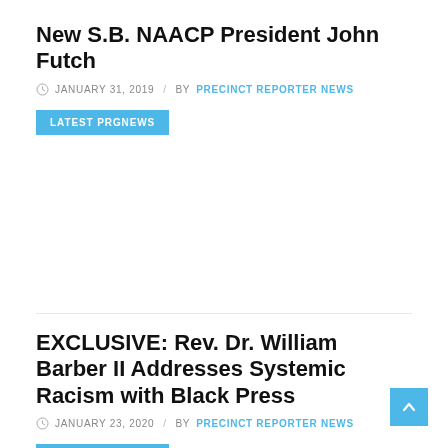New S.B. NAACP President John Futch
JANUARY 31, 2019 / BY PRECINCT REPORTER NEWS
LATEST PRGNEWS
EXCLUSIVE: Rev. Dr. William Barber II Addresses Systemic Racism with Black Press
JANUARY 23, 2020 / BY PRECINCT REPORTER NEWS
LATEST PRGNEWS